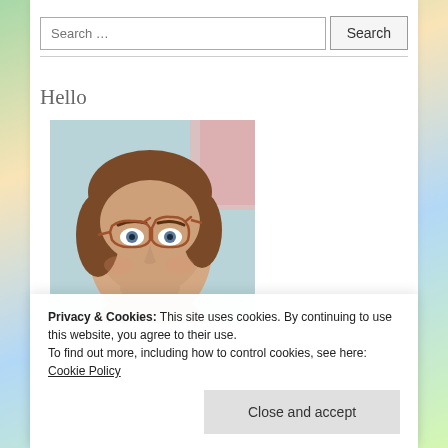Search …
Hello
[Figure (photo): Close-up photo of a woman with short brown hair and cat-eye style glasses, looking into a mirror or camera, with a light blue/teal background and a hint of pink artwork visible in the upper right corner.]
Privacy & Cookies: This site uses cookies. By continuing to use this website, you agree to their use.
To find out more, including how to control cookies, see here: Cookie Policy
Close and accept